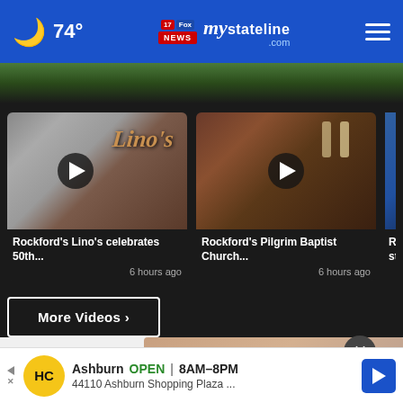74° mystateline.com
[Figure (screenshot): Dark video section with two video cards and a partial third. Card 1: Rockford's Lino's celebrates 50th... 6 hours ago. Card 2: Rockford's Pilgrim Baptist Church... 6 hours ago. Partial card 3: Rockf... stude...]
Rockford's Lino's celebrates 50th...
6 hours ago
Rockford's Pilgrim Baptist Church...
6 hours ago
More Videos ›
[Figure (photo): Partial photo visible at bottom, brownish tones, partially obscured by ad bar]
Ashburn  OPEN | 8AM–8PM
44110 Ashburn Shopping Plaza ...